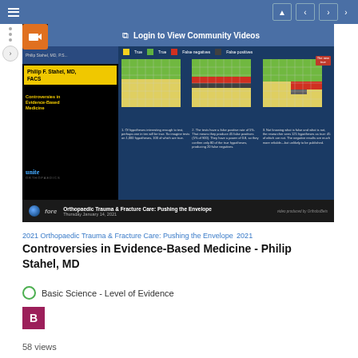Login to View Community Videos
[Figure (screenshot): Video thumbnail showing a medical lecture slide about Controversies in Evidence-Based Medicine by Philip F. Stahel MD FACS, with a grid-based chart showing true/false positives and negatives. Event: Orthopaedic Trauma & Fracture Care: Pushing the Envelope, Thursday January 14, 2021.]
2021 Orthopaedic Trauma & Fracture Care: Pushing the Envelope 2021
Controversies in Evidence-Based Medicine - Philip Stahel, MD
Basic Science - Level of Evidence
B
58 views